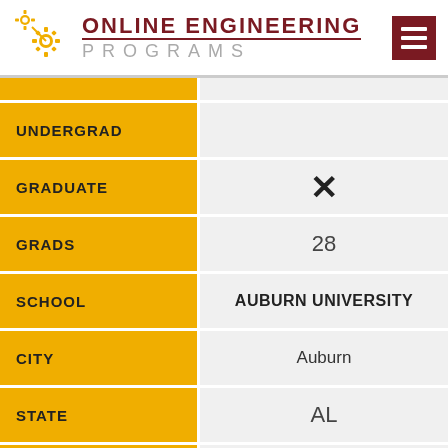[Figure (logo): Online Engineering Programs logo with gear icon]
| Field | Value |
| --- | --- |
| UNDERGRAD |  |
| GRADUATE | ✗ |
| GRADS | 28 |
| SCHOOL | AUBURN UNIVERSITY |
| CITY | Auburn |
| STATE | AL |